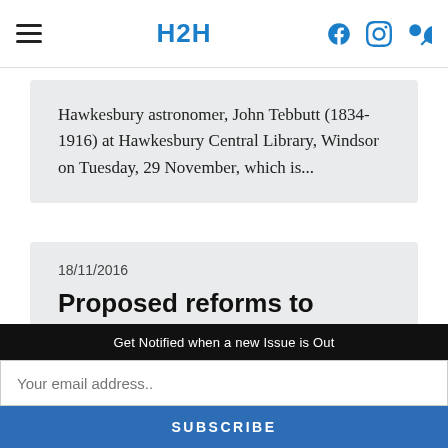H2H
Hawkesbury astronomer, John Tebbutt (1834-1916) at Hawkesbury Central Library, Windsor on Tuesday, 29 November, which is...
18/11/2016
Proposed reforms to further protect NSW coastlines
Get Notified when a new Issue is Out
Your email address..
SUBSCRIBE